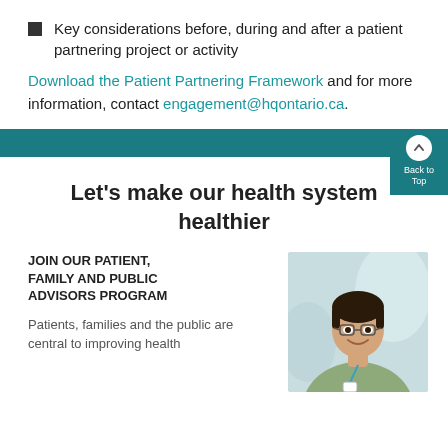Key considerations before, during and after a patient partnering project or activity
Download the Patient Partnering Framework and for more information, contact engagement@hqontario.ca.
Let's make our health system healthier
JOIN OUR PATIENT, FAMILY AND PUBLIC ADVISORS PROGRAM
Patients, families and the public are central to improving health
[Figure (photo): Smiling man with glasses wearing a plaid shirt and lanyard badge, blurred background]